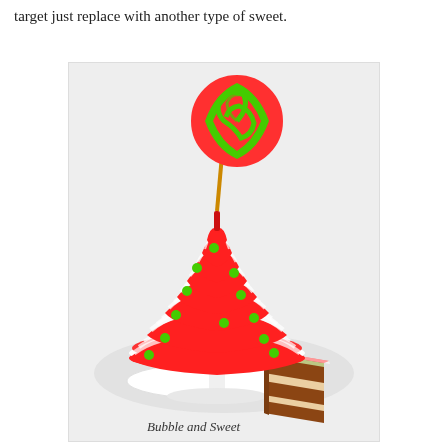target just replace with another type of sweet.
[Figure (photo): A Christmas tree-shaped cake decorated with red and white striped fondant ruffles, green candy ball ornaments, and topped with a large red and green swirl lollipop. The cake is displayed on a white cake stand with a slice cut out revealing layers of chocolate cake. A watermark reads 'Bubble and Sweet' at the bottom.]